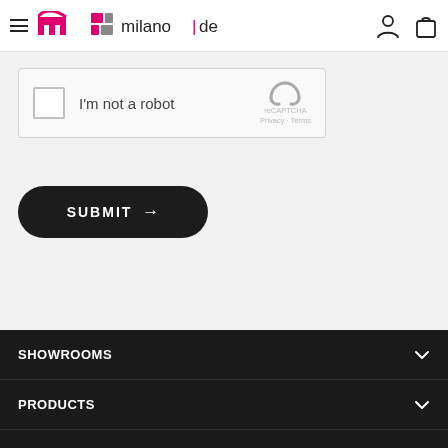milanoide header with hamburger menu, logo, user icon, and bag icon
[Figure (screenshot): reCAPTCHA widget with checkbox labeled 'I'm not a robot']
SUBMIT →
SHOWROOMS
PRODUCTS
COMPANY